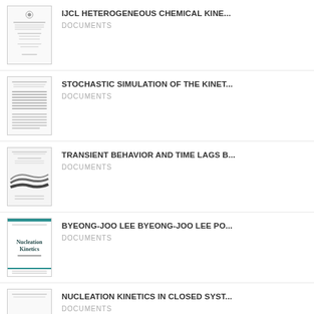[Figure (screenshot): Thumbnail of document: IJCL Heterogeneous Chemical Kinetics]
IJCL HETEROGENEOUS CHEMICAL KINE...
DOCUMENTS
[Figure (screenshot): Thumbnail of document: Stochastic Simulation of the Kinetics]
STOCHASTIC SIMULATION OF THE KINET...
DOCUMENTS
[Figure (screenshot): Thumbnail of document: Transient Behavior and Time Lags]
TRANSIENT BEHAVIOR AND TIME LAGS B...
DOCUMENTS
[Figure (screenshot): Thumbnail of document: Nucleation Kinetics book cover by Byeong-Joo Lee]
BYEONG-JOO LEE BYEONG-JOO LEE PO...
DOCUMENTS
[Figure (screenshot): Thumbnail of document: Nucleation Kinetics in Closed Systems]
NUCLEATION KINETICS IN CLOSED SYST...
DOCUMENTS